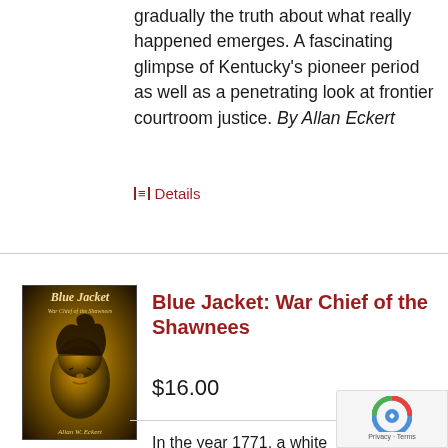gradually the truth about what really happened emerges. A fascinating glimpse of Kentucky's pioneer period as well as a penetrating look at frontier courtroom justice. By Allan Eckert
☰ Details
[Figure (illustration): Book cover of 'Blue Jacket: War Chief of the Shawnees' by Allan W. Eckert, featuring an illustrated portrait of a Native American man on a dark golden/brown background]
Blue Jacket: War Chief of the Shawnees
$16.00
In the year 1771, a white boy named